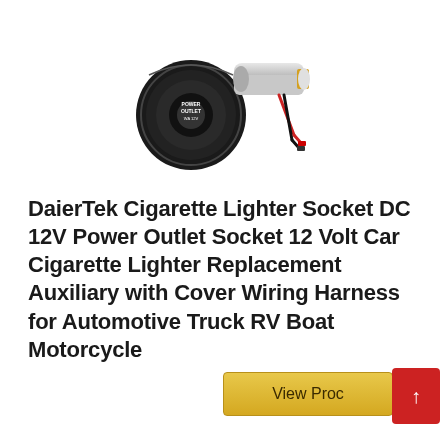[Figure (photo): Product photo showing a DaierTek cigarette lighter socket DC 12V power outlet with black cap cover and a silver cylindrical socket component with red and black wires attached]
DaierTek Cigarette Lighter Socket DC 12V Power Outlet Socket 12 Volt Car Cigarette Lighter Replacement Auxiliary with Cover Wiring Harness for Automotive Truck RV Boat Motorcycle
[Figure (other): View Product button (gold/yellow) with a red scroll-to-top button overlapping it]